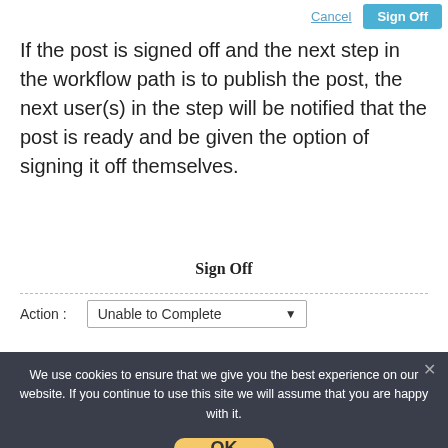[Figure (screenshot): Cancel and Sign Off buttons at the top right of the page]
If the post is signed off and the next step in the workflow path is to publish the post, the next user(s) in the step will be notified that the post is ready and be given the option of signing it off themselves.
Sign Off
Action :  Unable to Complete
We use cookies to ensure that we give you the best experience on our website. If you continue to use this site we will assume that you are happy with it.
[Figure (screenshot): OK button in the cookie consent overlay]